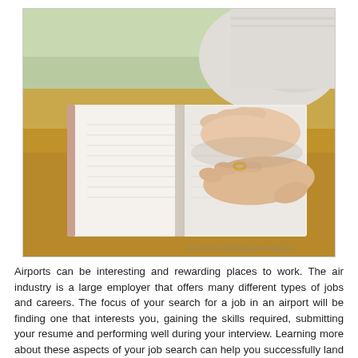[Figure (photo): Close-up photograph of a person's hands resting on an open book on a wooden desk. The person is wearing a ring on their right hand. The book appears to be a thick reference book or dictionary. A small watermark text is visible in the bottom-right corner of the image.]
Airports can be interesting and rewarding places to work. The air industry is a large employer that offers many different types of jobs and careers. The focus of your search for a job in an airport will be finding one that interests you, gaining the skills required, submitting your resume and performing well during your interview. Learning more about these aspects of your job search can help you successfully land your dream job at an airport.